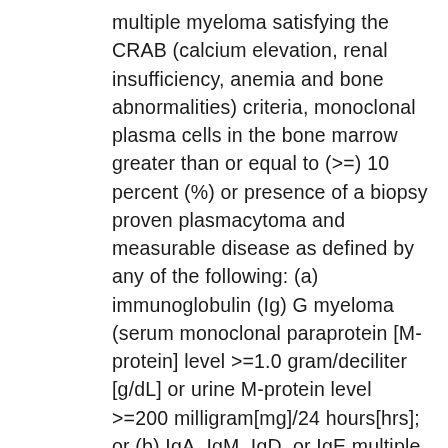multiple myeloma satisfying the CRAB (calcium elevation, renal insufficiency, anemia and bone abnormalities) criteria, monoclonal plasma cells in the bone marrow greater than or equal to (>=) 10 percent (%) or presence of a biopsy proven plasmacytoma and measurable disease as defined by any of the following: (a) immunoglobulin (Ig) G myeloma (serum monoclonal paraprotein [M-protein] level >=1.0 gram/deciliter [g/dL] or urine M-protein level >=200 milligram[mg]/24 hours[hrs]; or (b) IgA, IgM, IgD, or IgE multiple myeloma (serum M-protein level >=0.5 g/dL or urine M-protein level >=200 mg/24 hrs); or (c) light chain multiple